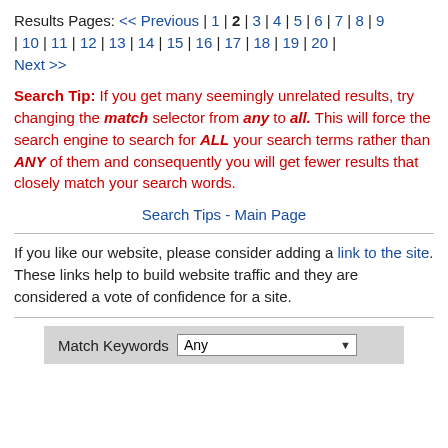Results Pages: << Previous | 1 | 2 | 3 | 4 | 5 | 6 | 7 | 8 | 9 | 10 | 11 | 12 | 13 | 14 | 15 | 16 | 17 | 18 | 19 | 20 | Next >>
Search Tip: If you get many seemingly unrelated results, try changing the match selector from any to all. This will force the search engine to search for ALL your search terms rather than ANY of them and consequently you will get fewer results that closely match your search words.
Search Tips - Main Page
If you like our website, please consider adding a link to the site. These links help to build website traffic and they are considered a vote of confidence for a site.
Match Keywords Any